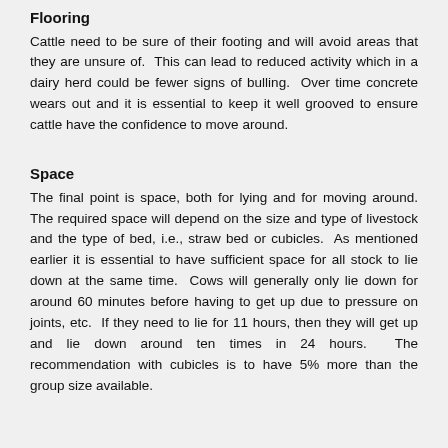Flooring
Cattle need to be sure of their footing and will avoid areas that they are unsure of.  This can lead to reduced activity which in a dairy herd could be fewer signs of bulling.  Over time concrete wears out and it is essential to keep it well grooved to ensure cattle have the confidence to move around.
Space
The final point is space, both for lying and for moving around. The required space will depend on the size and type of livestock and the type of bed, i.e., straw bed or cubicles.  As mentioned earlier it is essential to have sufficient space for all stock to lie down at the same time.  Cows will generally only lie down for around 60 minutes before having to get up due to pressure on joints, etc.  If they need to lie for 11 hours, then they will get up and lie down around ten times in 24 hours.  The recommendation with cubicles is to have 5% more than the group size available.